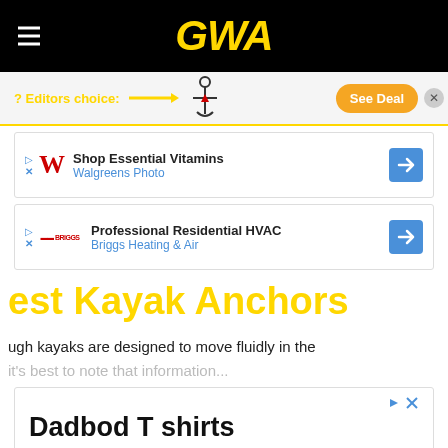GWA
? Editors choice: → [kayak anchor image] See Deal
[Figure (screenshot): Walgreens ad: Shop Essential Vitamins - Walgreens Photo]
[Figure (screenshot): Briggs Heating & Air ad: Professional Residential HVAC]
est Kayak Anchors
ugh kayaks are designed to move fluidly in the
[Figure (screenshot): Advertisement: Dadbod T shirts - Designed and shipped from California. dadbodapparel.com - Learn More]